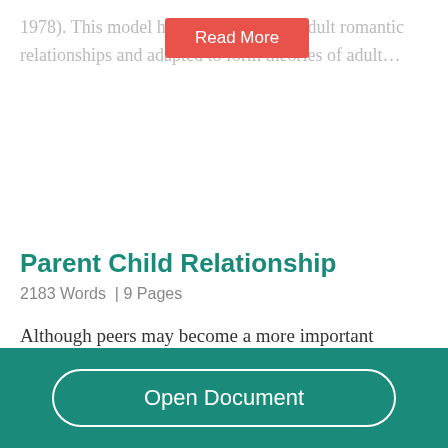1978). This model [has been applied] to adult romantic relationships and adapted to form theories of adult…
Parent Child Relationship
2183 Words  | 9 Pages
Although peers may become a more important reference group in shaping adolescent behaviors numerous studies show that the parent-child
Open Document